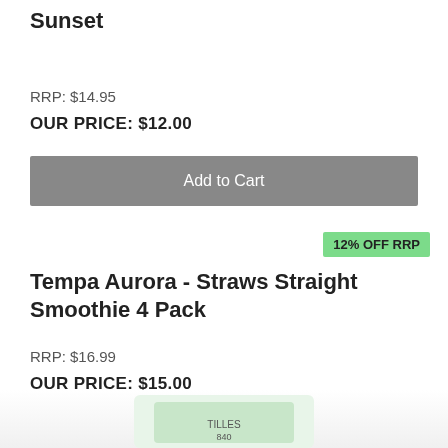Sunset
RRP: $14.95
OUR PRICE: $12.00
Add to Cart
12% OFF RRP
Tempa Aurora - Straws Straight Smoothie 4 Pack
RRP: $16.99
OUR PRICE: $15.00
Add to Cart
39% OFF RRP
[Figure (photo): Partial product image visible at bottom of page]